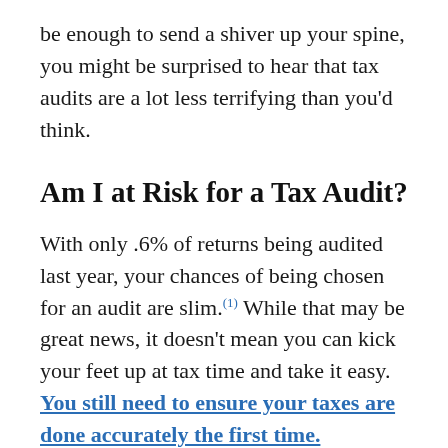be enough to send a shiver up your spine, you might be surprised to hear that tax audits are a lot less terrifying than you'd think.
Am I at Risk for a Tax Audit?
With only .6% of returns being audited last year, your chances of being chosen for an audit are slim.(1) While that may be great news, it doesn't mean you can kick your feet up at tax time and take it easy. You still need to ensure your taxes are done accurately the first time.
So how does the IRS choose who they audit? For many, audits are triggered by